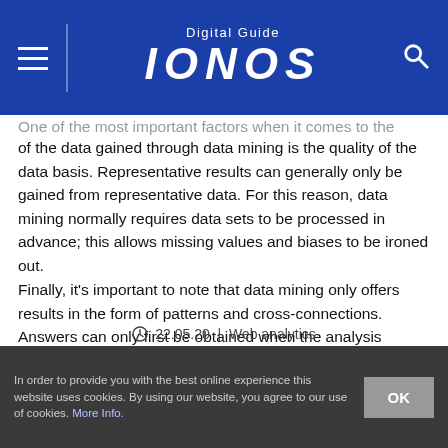Digital Guide IONOS
One of the most important factors when it comes to the quality of the data gained through data mining is the quality of the data basis. Representative results can generally only be gained from representative data. For this reason, data mining normally requires data sets to be processed in advance; this allows missing values and biases to be ironed out.
Finally, it's important to note that data mining only offers results in the form of patterns and cross-connections. Answers can only first be obtained when the analysis results are interpreted with regards to previous questions and goals.
22.05.20  |  Web analytics
In order to provide you with the best online experience this website uses cookies. By using our website, you agree to our use of cookies. More Info.